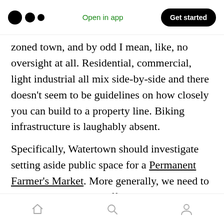Open in app | Get started
zoned town, and by odd I mean, like, no oversight at all. Residential, commercial, light industrial all mix side-by-side and there doesn't seem to be guidelines on how closely you can build to a property line. Biking infrastructure is laughably absent.
Specifically, Watertown should investigate setting aside public space for a Permanent Farmer's Market. More generally, we need to embrace and support efforts to expand the Common Good in our communities and understand that investing in our communities
Home | Search | Profile